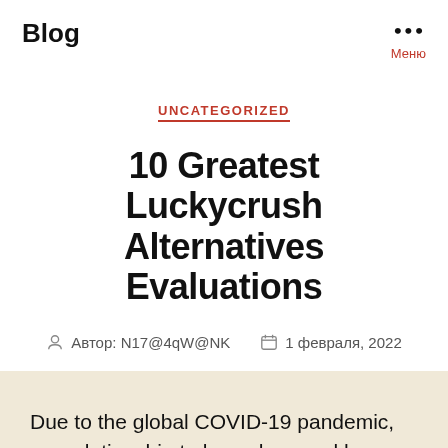Blog
UNCATEGORIZED
10 Greatest Luckycrush Alternatives Evaluations
Автор: N17@4qW@NK   1 февраля, 2022
Due to the global COVID-19 pandemic, our relationship to know-how and house has shifted. We have needed to redefine how we navigate space publicly, privately, and nearly. While know